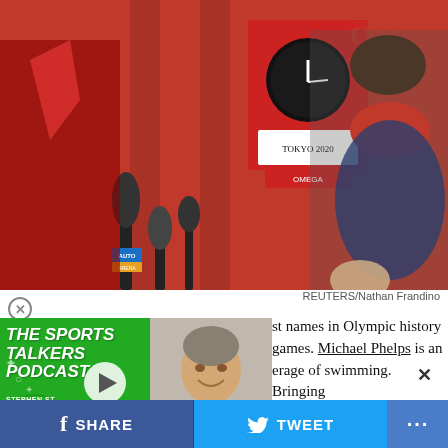[Figure (photo): Man wearing a red/pink face mask standing in front of Omega and Tokyo Olympics signage, with multiple news microphones in the foreground. Background is red and features large clock.]
REUTERS/Nathan Frandino
[Figure (screenshot): The Sports Talkers Podcast green overlay with play button and headshot of a man in a suit smiling]
st names in Olympic history games. Michael Phelps is an erage of swimming. Bringing pic champion ever is he network.
SHARE   TWEET   ...